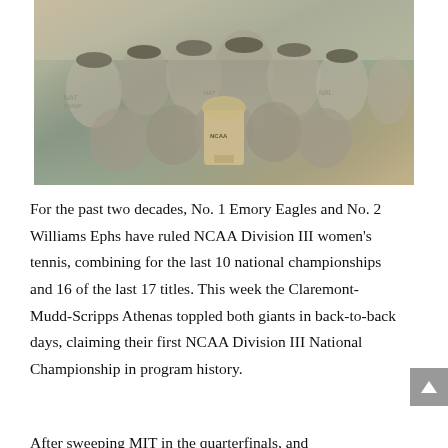[Figure (photo): Group photo of the Claremont-Mudd-Scripps Athenas women's tennis team wearing National Champions t-shirts and caps, posing together outdoors holding the NCAA trophy.]
For the past two decades, No. 1 Emory Eagles and No. 2 Williams Ephs have ruled NCAA Division III women's tennis, combining for the last 10 national championships and 16 of the last 17 titles. This week the Claremont-Mudd-Scripps Athenas toppled both giants in back-to-back days, claiming their first NCAA Division III National Championship in program history.
After sweeping MIT in the quarterfinals, and